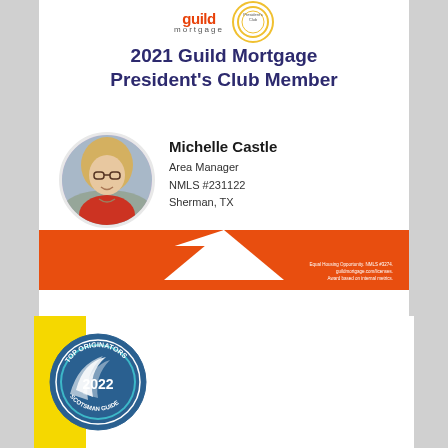[Figure (logo): Guild Mortgage logo and President's Club badge at top of certificate]
2021 Guild Mortgage President's Club Member
[Figure (photo): Circular headshot photo of Michelle Castle, a blonde woman wearing glasses and a red jacket]
Michelle Castle
Area Manager
NMLS #231122
Sherman, TX
Equal Housing Opportunity. NMLS #3274. guildmortgage.com/licenses. Award based on internal metrics.
[Figure (logo): Top Originators 2022 Scotsman Guide circular badge logo with teal and white design on yellow background]